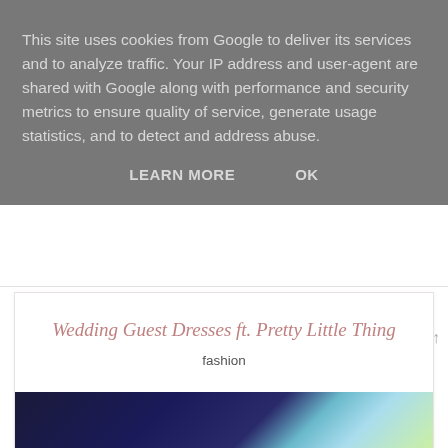This site uses cookies from Google to deliver its services and to analyze traffic. Your IP address and user-agent are shared with Google along with performance and security metrics to ensure quality of service, generate usage statistics, and to detect and address abuse.
LEARN MORE   OK
Wedding Guest Dresses ft. Pretty Little Thing
fashion
[Figure (photo): A photo showing what appears to be a decorative sphere or floral arrangement with blue and white tones, with green foliage in the background.]